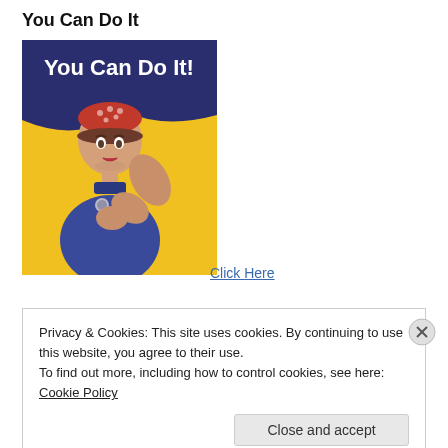You Can Do It
[Figure (illustration): Rosie the Riveter 'We Can Do It!' style poster showing a woman in blue work shirt with red polka dot bandana flexing her arm, with 'You Can Do It!' text on a dark blue speech bubble background and yellow background.]
Click Here
Privacy & Cookies: This site uses cookies. By continuing to use this website, you agree to their use.
To find out more, including how to control cookies, see here: Cookie Policy
Close and accept